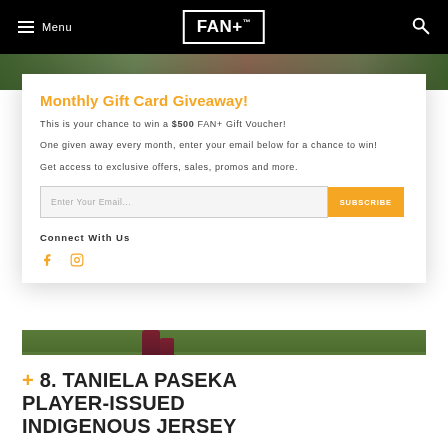Menu | FAN+ | Search
[Figure (photo): Sports photo showing a football player's legs on a grass field, partially obscured by a popup modal]
Monthly Gift Card Giveaway!
This is your chance to win a $500 FAN+ Gift Voucher!
One given away every month, enter your email below for a chance to win!
Get access to exclusive offers, sales, promos and more.
Enter Your Email... SUBSCRIBE
Connect With Us
+ 8. TANIELA PASEKA PLAYER-ISSUED INDIGENOUS JERSEY